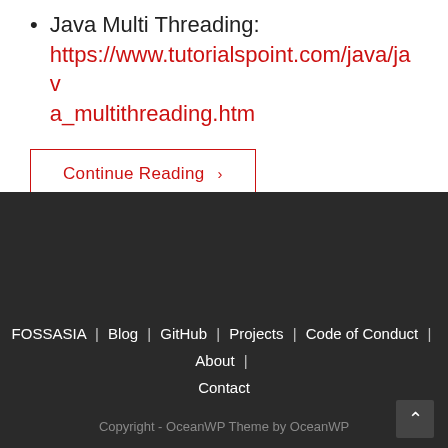Java Multi Threading: https://www.tutorialspoint.com/java/java_multithreading.htm
Continue Reading ›
FOSSASIA | Blog | GitHub | Projects | Code of Conduct | About | Contact
Copyright - OceanWP Theme by OceanWP